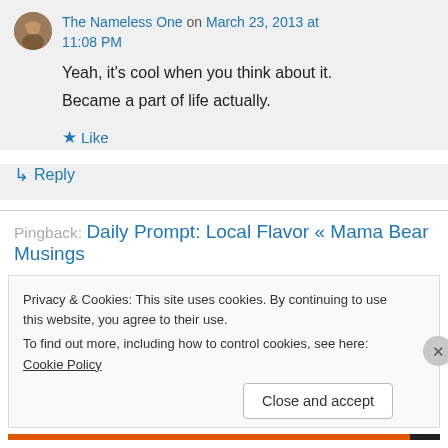The Nameless One on March 23, 2013 at 11:08 PM
Yeah, it's cool when you think about it. Became a part of life actually.
★ Like
↳ Reply
Pingback: Daily Prompt: Local Flavor « Mama Bear Musings
Privacy & Cookies: This site uses cookies. By continuing to use this website, you agree to their use.
To find out more, including how to control cookies, see here: Cookie Policy